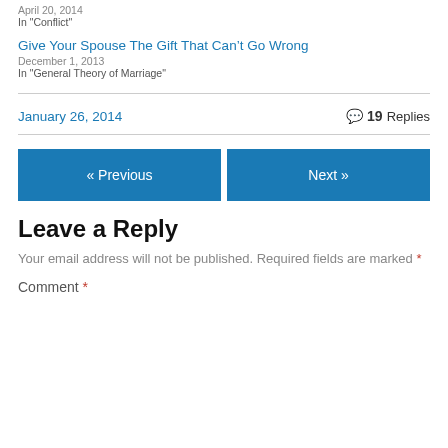April 20, 2014
In "Conflict"
Give Your Spouse The Gift That Can’t Go Wrong
December 1, 2013
In "General Theory of Marriage"
January 26, 2014
19 Replies
« Previous
Next »
Leave a Reply
Your email address will not be published. Required fields are marked *
Comment *